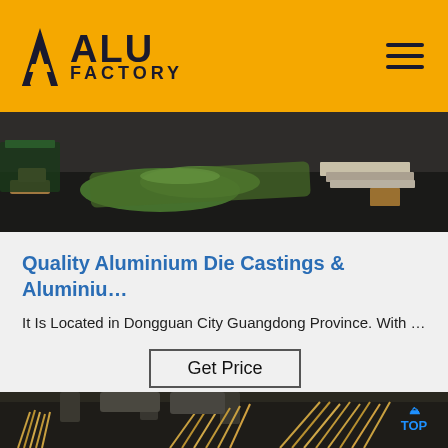ALU FACTORY
[Figure (photo): Photo of aluminium sheets/products with green protective wrap, stacked on a dark surface]
Quality Aluminium Die Castings & Aluminiu…
It Is Located in Dongguan City Guangdong Province. With …
Get Price
[Figure (photo): Industrial factory interior with machinery, hanging copper/aluminium rods and industrial equipment, with a TOP watermark badge]